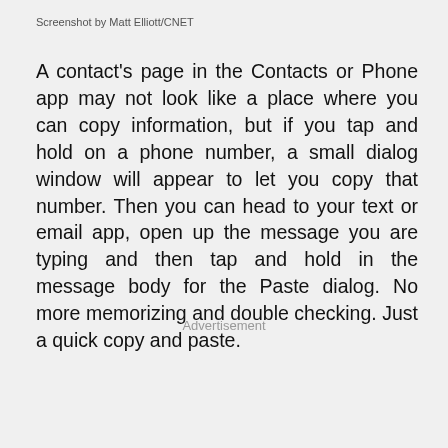Screenshot by Matt Elliott/CNET
A contact's page in the Contacts or Phone app may not look like a place where you can copy information, but if you tap and hold on a phone number, a small dialog window will appear to let you copy that number. Then you can head to your text or email app, open up the message you are typing and then tap and hold in the message body for the Paste dialog. No more memorizing and double checking. Just a quick copy and paste.
Advertisement